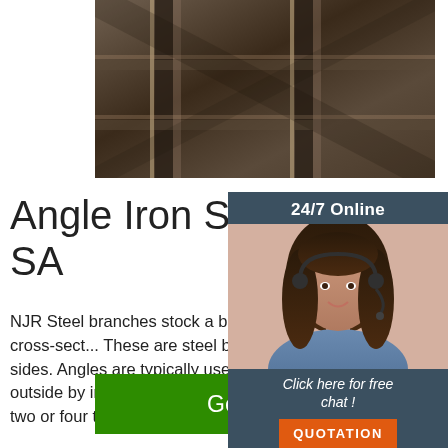[Figure (photo): Photo of steel angle iron / rail tracks viewed from above, dark metallic colors]
Angle Iron Sizes and P... SA
[Figure (photo): Customer service widget: 24/7 Online banner with photo of woman with headset, Click here for free chat button, QUOTATION button]
NJR Steel branches stock a broad range of angle iron, also known as L-shaped cross-sect... These are steel bars in the shape of an angle with equal or unequal sides. Angles are typically used as braces to reinforce structures from the outside by increasing overall stress tolerance, but can also be used in sets of two or four to form the main ...
[Figure (logo): Back to top badge with orange dots triangle and TOP text]
Get Price